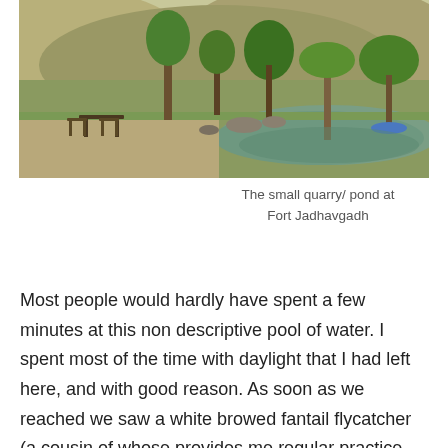[Figure (photo): Outdoor photo of a small quarry/pond at Fort Jadhavgadh, with trees, rocky hills in the background, green water, and outdoor furniture (table and chairs) on the left side.]
The small quarry/ pond at Fort Jadhavgadh
Most people would hardly have spent a few minutes at this non descriptive pool of water. I spent most of the time with daylight that I had left here, and with good reason. As soon as we reached we saw a white browed fantail flycatcher (a cousin of whose provides me regular practice back home) catching his meal in the bushes near